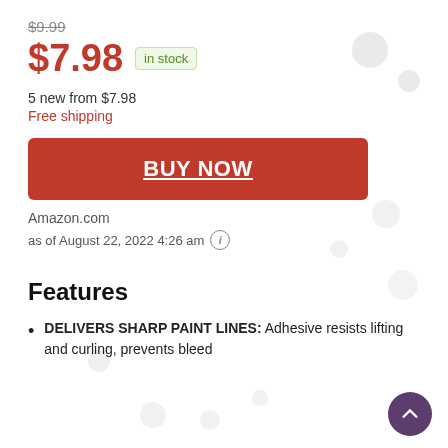$9.99
$7.98 in stock
5 new from $7.98
Free shipping
BUY NOW
Amazon.com
as of August 22, 2022 4:26 am
Features
DELIVERS SHARP PAINT LINES: Adhesive resists lifting and curling, prevents bleed